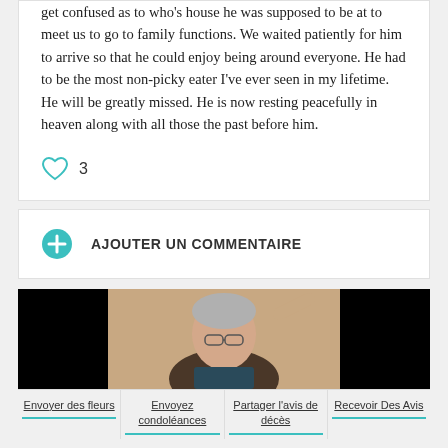get confused as to who's house he was supposed to be at to meet us to go to family functions. We waited patiently for him to arrive so that he could enjoy being around everyone. He had to be the most non-picky eater I've ever seen in my lifetime. He will be greatly missed. He is now resting peacefully in heaven along with all those the past before him.
3
AJOUTER UN COMMENTAIRE
[Figure (photo): Photo of an elderly man with grey hair and glasses, seated, with black bars on either side of the image.]
Envoyer des fleurs
Envoyez condoléances
Partager l'avis de décès
Recevoir Des Avis